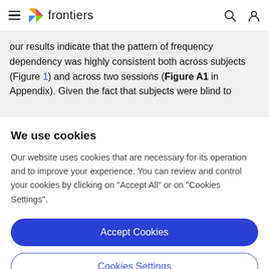frontiers
our results indicate that the pattern of frequency dependency was highly consistent both across subjects (Figure 1) and across two sessions (Figure A1 in Appendix). Given the fact that subjects were blind to
We use cookies
Our website uses cookies that are necessary for its operation and to improve your experience. You can review and control your cookies by clicking on "Accept All" or on "Cookies Settings".
Accept Cookies
Cookies Settings